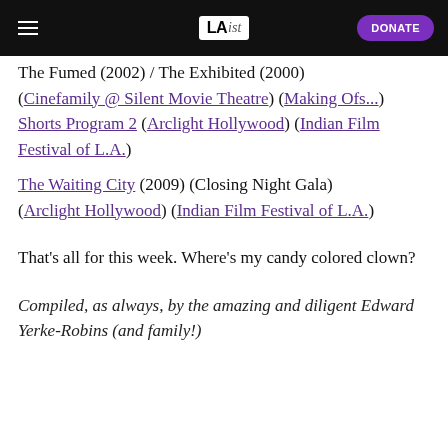LAist | DONATE
The Fumed (2002) / The Exhibited (2000) (Cinefamily @ Silent Movie Theatre) (Making Ofs...) Shorts Program 2 (Arclight Hollywood) (Indian Film Festival of L.A.)
The Waiting City (2009) (Closing Night Gala) (Arclight Hollywood) (Indian Film Festival of L.A.)
That's all for this week. Where's my candy colored clown?
Compiled, as always, by the amazing and diligent Edward Yerke-Robins (and family!)